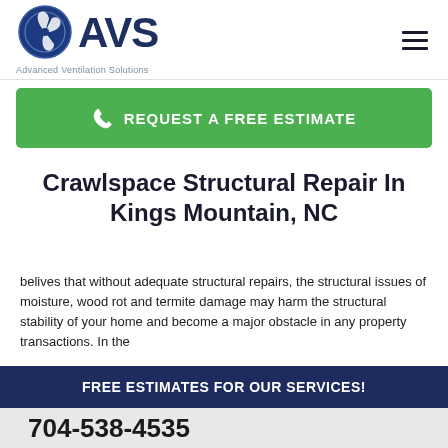[Figure (logo): AVS Advanced Ventilation Solutions logo with fan/ventilation icon and bold blue AVS text]
REQUEST A FREE ESTIMATE
Crawlspace Structural Repair In Kings Mountain, NC
belives that without adequate structural repairs, the structural issues of moisture, wood rot and termite damage may harm the structural stability of your home and become a major obstacle in any property transactions. In the
FREE ESTIMATES FOR OUR SERVICES!
704-538-4535